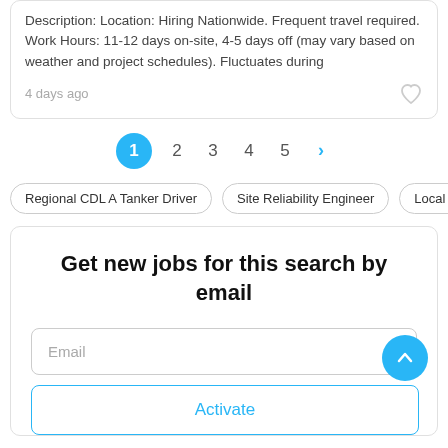Description: Location: Hiring Nationwide. Frequent travel required. Work Hours: 11-12 days on-site, 4-5 days off (may vary based on weather and project schedules). Fluctuates during
4 days ago
1 2 3 4 5 >
Regional CDL A Tanker Driver
Site Reliability Engineer
Local Intern...
Get new jobs for this search by email
Email
Activate